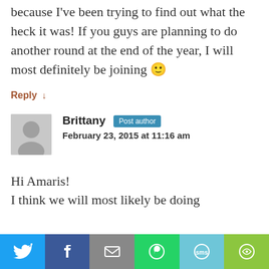because I've been trying to find out what the heck it was! If you guys are planning to do another round at the end of the year, I will most definitely be joining 🙂
Reply ↓
[Figure (illustration): Gray avatar placeholder image of a person silhouette]
Brittany Post author
February 23, 2015 at 11:16 am
Hi Amaris!
I think we will most likely be doing
[Figure (infographic): Social share bar with Twitter, Facebook, Email, WhatsApp, SMS, and More buttons]